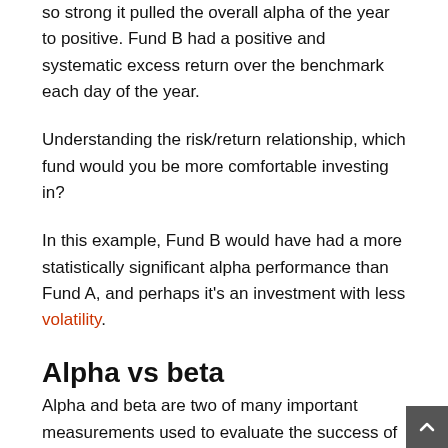so strong it pulled the overall alpha of the year to positive. Fund B had a positive and systematic excess return over the benchmark each day of the year.
Understanding the risk/return relationship, which fund would you be more comfortable investing in?
In this example, Fund B would have had a more statistically significant alpha performance than Fund A, and perhaps it's an investment with less volatility.
Alpha vs beta
Alpha and beta are two of many important measurements used to evaluate the success of an investment portfolio, stock or security. Alpha indicates